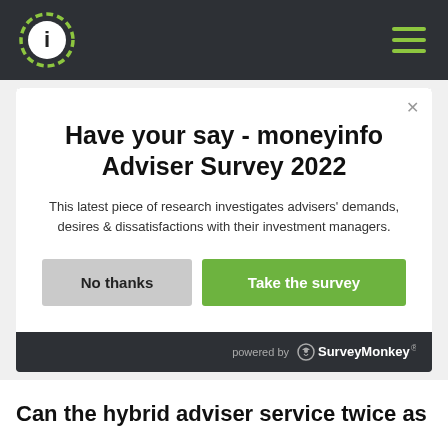[Figure (logo): moneyinfo logo - circular icon with letter i in green/white dashed circle on dark header bar]
Have your say - moneyinfo Adviser Survey 2022
This latest piece of research investigates advisers' demands, desires & dissatisfactions with their investment managers.
No thanks
Take the survey
powered by SurveyMonkey
Can the hybrid adviser service twice as